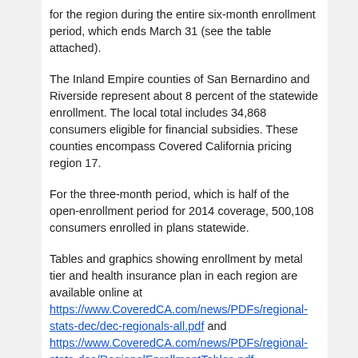for the region during the entire six-month enrollment period, which ends March 31 (see the table attached).
The Inland Empire counties of San Bernardino and Riverside represent about 8 percent of the statewide enrollment. The local total includes 34,868 consumers eligible for financial subsidies. These counties encompass Covered California pricing region 17.
For the three-month period, which is half of the open-enrollment period for 2014 coverage, 500,108 consumers enrolled in plans statewide.
Tables and graphics showing enrollment by metal tier and health insurance plan in each region are available online at https://www.CoveredCA.com/news/PDFs/regional-stats-dec/dec-regionals-all.pdf and https://www.CoveredCA.com/news/PDFs/regional-stats-dec/RegionalEnrollmentTables.pdf.